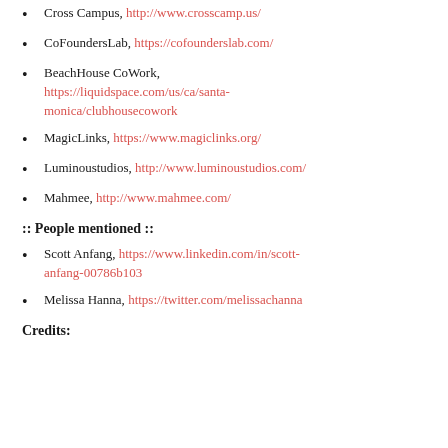Cross Campus, http://www.crosscamp.us/
CoFoundersLab, https://cofounderslab.com/
BeachHouse CoWork, https://liquidspace.com/us/ca/santa-monica/clubhousecowork
MagicLinks, https://www.magiclinks.org/
Luminoustudios, http://www.luminoustudios.com/
Mahmee, http://www.mahmee.com/
:: People mentioned ::
Scott Anfang, https://www.linkedin.com/in/scott-anfang-00786b103
Melissa Hanna, https://twitter.com/melissachanna
Credits: